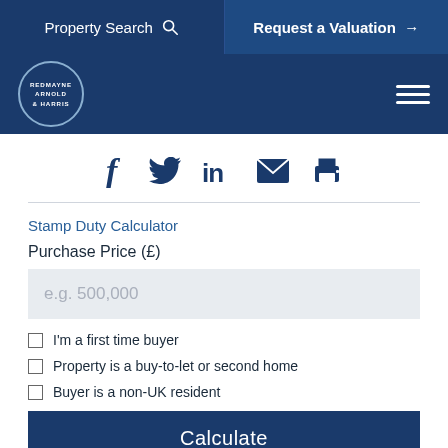Property Search    Request a Valuation →
[Figure (logo): Redmayne Arnold & Harris circular logo in white on dark blue background]
[Figure (infographic): Social media share icons: Facebook, Twitter, LinkedIn, Email, Print — all in dark blue]
Stamp Duty Calculator
Purchase Price (£)
e.g. 500,000
I'm a first time buyer
Property is a buy-to-let or second home
Buyer is a non-UK resident
Calculate